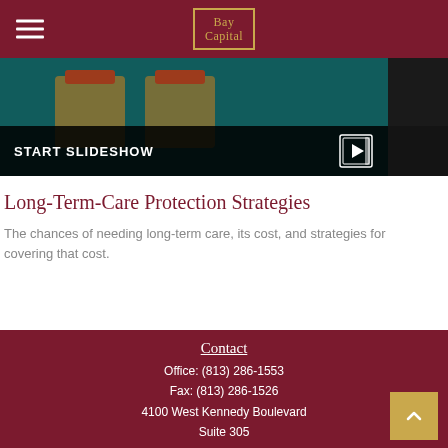Bay Capital
[Figure (screenshot): Slideshow thumbnail image showing pill containers on teal background with START SLIDESHOW button and play icon]
Long-Term-Care Protection Strategies
The chances of needing long-term care, its cost, and strategies for covering that cost.
Contact
Office: (813) 286-1553
Fax: (813) 286-1526
4100 West Kennedy Boulevard
Suite 305